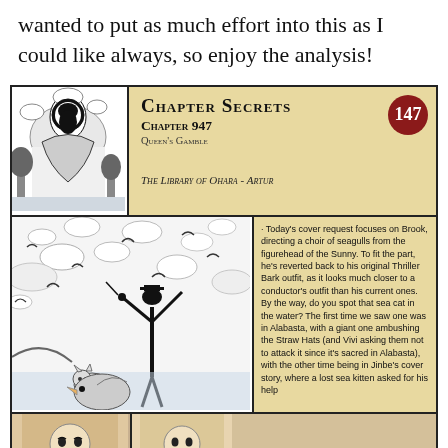wanted to put as much effort into this as I could like always, so enjoy the analysis!
[Figure (illustration): Chapter Secrets card for Chapter 947 Queen's Gamble by The Library of Ohara - Artur, with manga illustration and number badge 147]
[Figure (illustration): Manga panel showing Brook conducting seagulls from the Sunny figurehead, with a sea cat visible in the water]
· Today's cover request focuses on Brook, directing a choir of seagulls from the figurehead of the Sunny. To fit the part, he's reverted back to his original Thriller Bark outfit, as it looks much closer to a conductor's outfit than his current ones. By the way, do you spot that sea cat in the water? The first time we saw one was in Alabasta, with a giant one ambushing the Straw Hats (and Vivi asking them not to attack it since it's sacred in Alabasta), with the other time being in Jinbe's cover story, where a lost sea kitten asked for his help
[Figure (illustration): Two small manga panels at the bottom showing close-up character faces]